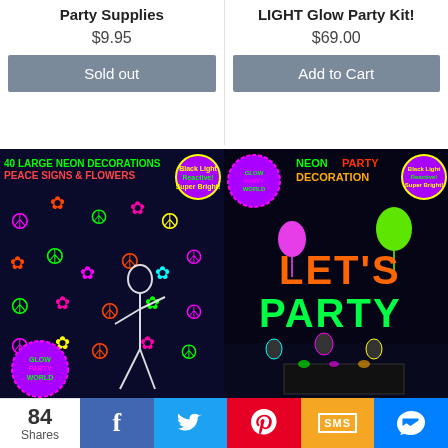Party Supplies
$9.95
Sold out
LIGHT Glow Party Kit!
$69.00
Add to Cart
[Figure (photo): Neon glow party decoration product image showing 40 large neon decorations, peace signs and flowers, with a dancer in blacklight, Glow Party World logo]
[Figure (photo): Neon party decoration product image showing LET'S PARTY banner in colorful neon letters with blacklight reactive text, Glow Party World logo]
84 Shares
f
Twitter bird icon
Pinterest P icon
SMS
Messenger icon